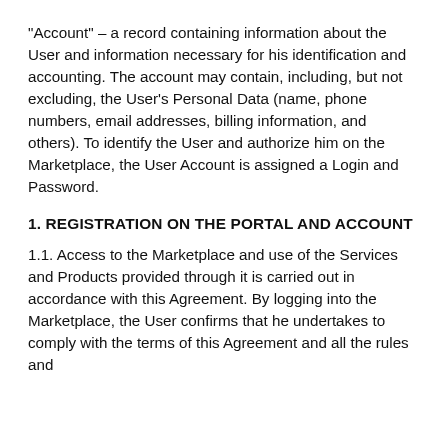"Account" – a record containing information about the User and information necessary for his identification and accounting. The account may contain, including, but not excluding, the User's Personal Data (name, phone numbers, email addresses, billing information, and others). To identify the User and authorize him on the Marketplace, the User Account is assigned a Login and Password.
1. REGISTRATION ON THE PORTAL AND ACCOUNT
1.1. Access to the Marketplace and use of the Services and Products provided through it is carried out in accordance with this Agreement. By logging into the Marketplace, the User confirms that he undertakes to comply with the terms of this Agreement and all the rules and